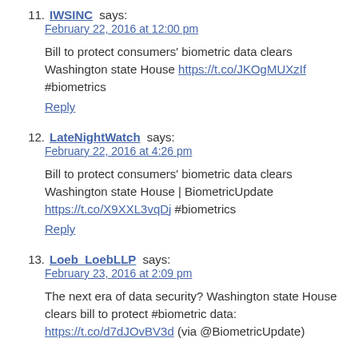11. IWSINC says: February 22, 2016 at 12:00 pm
Bill to protect consumers' biometric data clears Washington state House https://t.co/JKOgMUXzIf #biometrics
Reply
12. LateNightWatch says: February 22, 2016 at 4:26 pm
Bill to protect consumers' biometric data clears Washington state House | BiometricUpdate https://t.co/X9XXL3vqDj #biometrics
Reply
13. Loeb_LoebLLP says: February 23, 2016 at 2:09 pm
The next era of data security? Washington state House clears bill to protect #biometric data:
https://t.co/d7dJOvBV3d (via @BiometricUpdate)